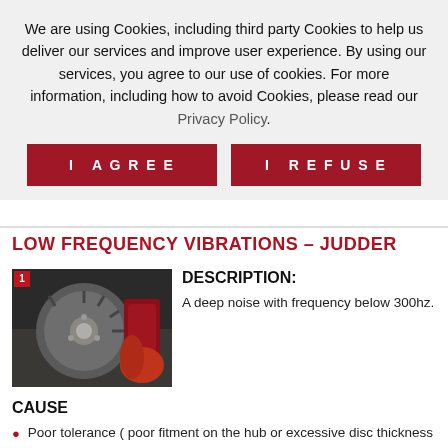We are using Cookies, including third party Cookies to help us deliver our services and improve user experience. By using our services, you agree to our use of cookies. For more information, including how to avoid Cookies, please read our Privacy Policy.
I AGREE
I REFUSE
LOW FREQUENCY VIBRATIONS – JUDDER
[Figure (photo): Photograph of a brake disc and caliper assembly with red brake pads visible, numbered badge '1' in top left corner]
DESCRIPTION:
A deep noise with frequency below 300hz.
CAUSE
Poor tolerance ( poor fitment on the hub or excessive disc thickness variation).
Disc damage